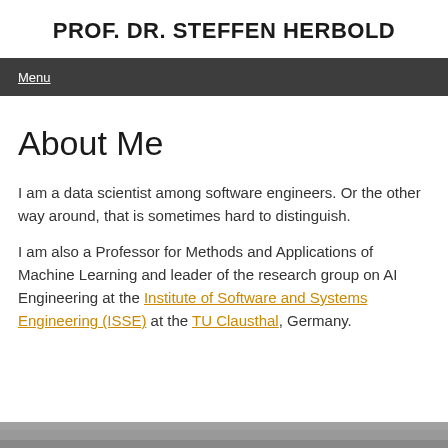PROF. DR. STEFFEN HERBOLD
Menu
About Me
I am a data scientist among software engineers. Or the other way around, that is sometimes hard to distinguish.
I am also a Professor for Methods and Applications of Machine Learning and leader of the research group on AI Engineering at the Institute of Software and Systems Engineering (ISSE) at the TU Clausthal, Germany.
[Figure (photo): A partial image strip at the bottom of the page, appears to show a photo]